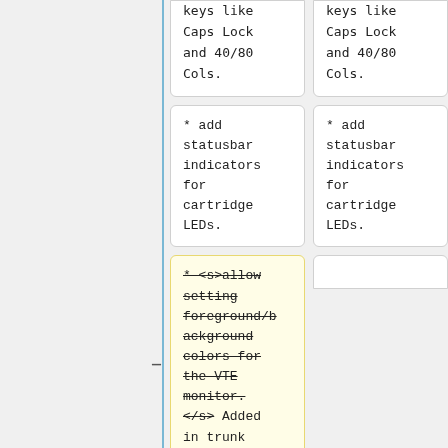keys like Caps Lock and 40/80 Cols.
keys like Caps Lock and 40/80 Cols.
* add statusbar indicators for cartridge LEDs.
* add statusbar indicators for cartridge LEDs.
* <s>allow setting foreground/background colors for the VTE monitor. </s> Added in trunk